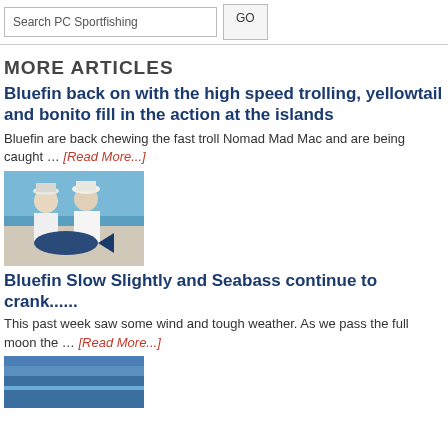Search PC Sportfishing  GO
MORE ARTICLES
Bluefin back on with the high speed trolling, yellowtail and bonito fill in the action at the islands
Bluefin are back chewing the fast troll Nomad Mad Mac and are being caught ... [Read More...]
[Figure (photo): Two anglers on a boat holding a large tuna fish, ocean in background]
Bluefin Slow Slightly and Seabass continue to crank......
This past week saw some wind and tough weather. As we pass the full moon the ... [Read More...]
[Figure (photo): Partial photo of ocean/fishing scene, cropped at bottom of page]